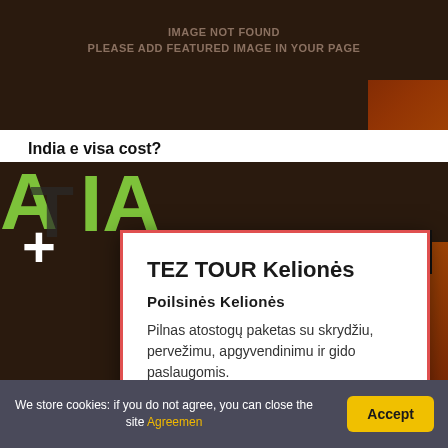[Figure (screenshot): Dark brown background website screenshot with 'IMAGE NOT FOUND' placeholder text]
IMAGE NOT FOUND
PLEASE ADD FEATURED IMAGE IN YOUR PAGE
Delhi
India e visa cost?
[Figure (screenshot): Modal popup overlay for TEZ TOUR Kelionės with close button]
TEZ TOUR Kelionės
Poilsinės Kelionės
Pilnas atostogų paketas su skrydžiu, pervežimu, apgyvendinimu ir gido paslaugomis.
teztour.lt
We store cookies: if you do not agree, you can close the site Agreemen
Accept